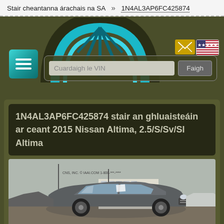Stair cheantanna árachais na SA » 1N4AL3AP6FC425874
[Figure (logo): Car wheel/tire logo in blue and teal tones with hamburger menu icon]
1N4AL3AP6FC425874 stair an ghluaisteáin ar ceant 2015 Nissan Altima, 2.5/S/Sv/Sl Altima
[Figure (photo): Photo of a gray 2015 Nissan Altima in a salvage yard with other vehicles in the background]